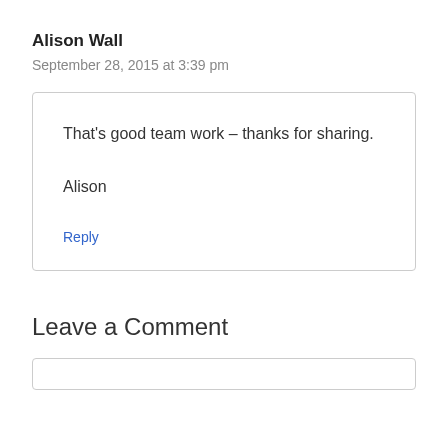Alison Wall
September 28, 2015 at 3:39 pm
That's good team work – thanks for sharing.

Alison
Reply
Leave a Comment